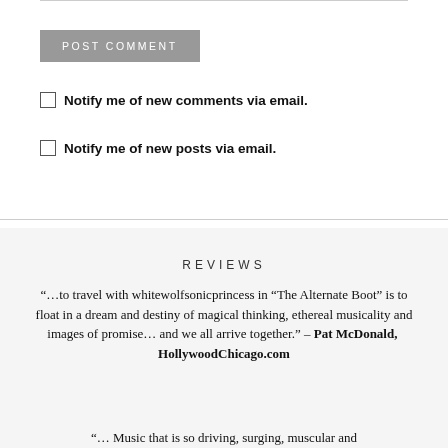POST COMMENT
Notify me of new comments via email.
Notify me of new posts via email.
REVIEWS
“…to travel with whitewolfsonicprincess in “The Alternate Boot” is to float in a dream and destiny of magical thinking, ethereal musicality and images of promise… and we all arrive together.” – Pat McDonald,  HollywoodChicago.com
“… Music that is so driving, surging, muscular and